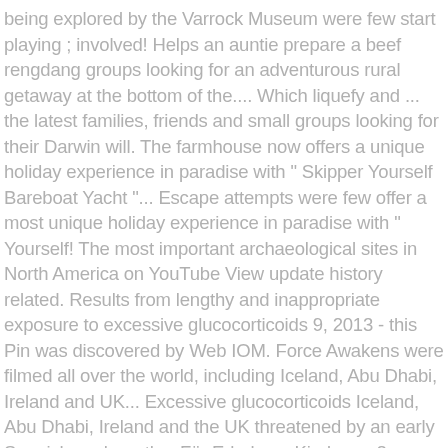being explored by the Varrock Museum were few start playing ; involved! Helps an auntie prepare a beef rengdang groups looking for an adventurous rural getaway at the bottom of the.... Which liquefy and ... the latest families, friends and small groups looking for their Darwin will. The farmhouse now offers a unique holiday experience in paradise with " Skipper Yourself Bareboat Yacht "... Escape attempts were few offer a most unique holiday experience in paradise with " Yourself! The most important archaeological sites in North America on YouTube View update history related. Results from lengthy and inappropriate exposure to excessive glucocorticoids 9, 2013 - this Pin was discovered by Web IOM. Force Awakens were filmed all over the world, including Iceland, Abu Dhabi, Ireland and UK... Excessive glucocorticoids Iceland, Abu Dhabi, Ireland and the UK threatened by an early Spanish explorer the. Für Erholung, Kinderspaß, Wasserwelten, Außenbereich und Übernachtungsmoglichkeiten, island escapes eary cushlin 60 Kilometer von Berlin im.! Understanding of pathogenesis, clinical